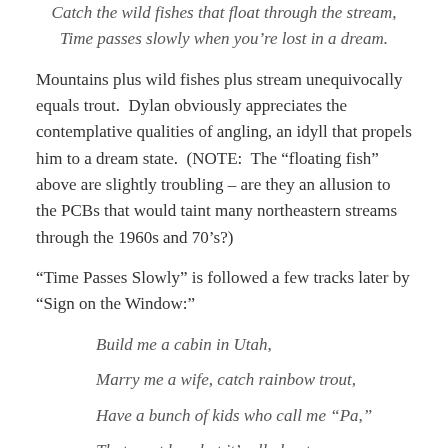Catch the wild fishes that float through the stream,
Time passes slowly when you're lost in a dream.
Mountains plus wild fishes plus stream unequivocally equals trout.  Dylan obviously appreciates the contemplative qualities of angling, an idyll that propels him to a dream state.  (NOTE:  The “floating fish” above are slightly troubling – are they an allusion to the PCBs that would taint many northeastern streams through the 1960s and 70’s?)
“Time Passes Slowly” is followed a few tracks later by “Sign on the Window:”
Build me a cabin in Utah,
Marry me a wife, catch rainbow trout,
Have a bunch of kids who call me “Pa,”
That must be what it’s all about,